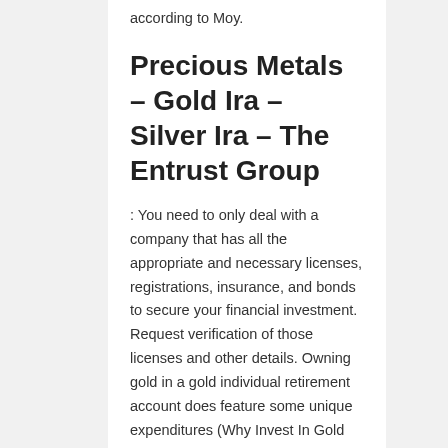according to Moy.
Precious Metals – Gold Ira – Silver Ira – The Entrust Group
: You need to only deal with a company that has all the appropriate and necessary licenses, registrations, insurance, and bonds to secure your financial investment. Request verification of those licenses and other details. Owning gold in a gold individual retirement account does feature some unique expenditures (Why Invest In Gold And Silver). The charges that a